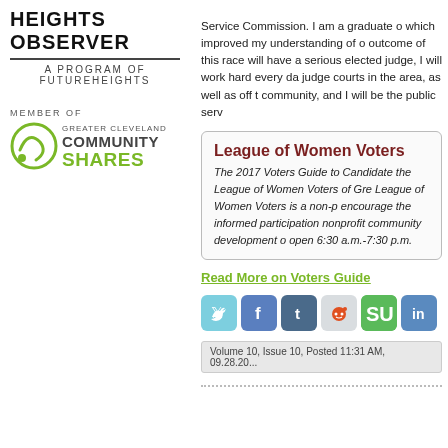HEIGHTS OBSERVER
A PROGRAM OF FUTUREHEIGHTS
MEMBER OF GREATER CLEVELAND COMMUNITY SHARES
Service Commission. I am a graduate of which improved my understanding of o outcome of this race will have a serious elected judge, I will work hard every da judge courts in the area, as well as off t community, and I will be the public serv
League of Women Voters
The 2017 Voters Guide to Candidate the League of Women Voters of Gre League of Women Voters is a non-p encourage the informed participation nonprofit community development o open 6:30 a.m.-7:30 p.m.
Read More on Voters Guide
[Figure (other): Social sharing icons: Twitter, Facebook, Tumblr, Reddit, StumbleUpon, LinkedIn]
Volume 10, Issue 10, Posted 11:31 AM, 09.28.20...